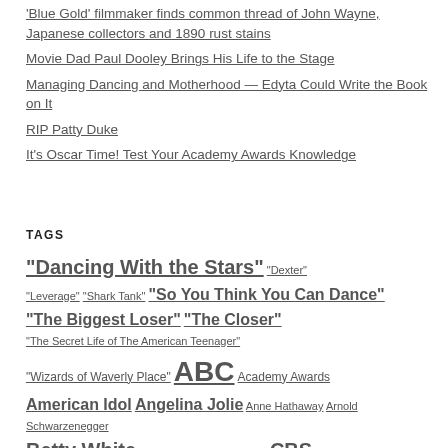'Blue Gold' filmmaker finds common thread of John Wayne, Japanese collectors and 1890 rust stains
Movie Dad Paul Dooley Brings His Life to the Stage
Managing Dancing and Motherhood — Edyta Could Write the Book on It
RIP Patty Duke
It's Oscar Time! Test Your Academy Awards Knowledge
TAGS
"Dancing With the Stars" "Dexter" "Leverage" "Shark Tank" "So You Think You Can Dance" "The Biggest Loser" "The Closer" "The Secret Life of The American Teenager" "Wizards of Waverly Place" ABC Academy Awards American Idol Angelina Jolie Anne Hathaway Arnold Schwarzenegger Betty White Brad Pitt Britney Spears CBS Charlie Sheen Disney Channel Fox Hallmark Channel Hallmark Movie Channel...